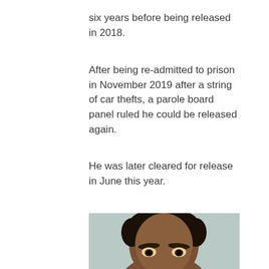six years before being released in 2018.
After being re-admitted to prison in November 2019 after a string of car thefts, a parole board panel ruled he could be released again.
He was later cleared for release in June this year.
[Figure (photo): Mugshot-style photo of a young Black man with short hair, looking directly at camera against a light grey/teal background. The photo is cropped to show the head and upper face.]